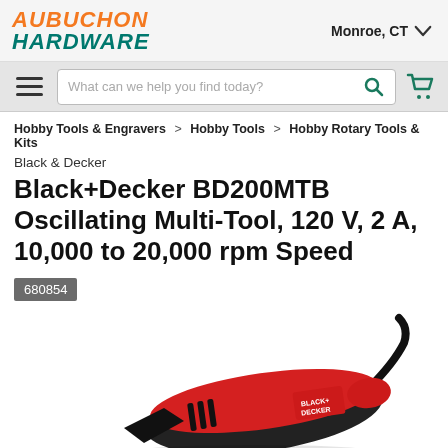AUBUCHON HARDWARE — Monroe, CT
What can we help you find today?
Hobby Tools & Engravers > Hobby Tools > Hobby Rotary Tools & Kits
Black & Decker
Black+Decker BD200MTB Oscillating Multi-Tool, 120 V, 2 A, 10,000 to 20,000 rpm Speed
680854
[Figure (photo): Black and red Black+Decker BD200MTB oscillating multi-tool power tool, partially visible from the side showing the body, grip area, and power cord.]